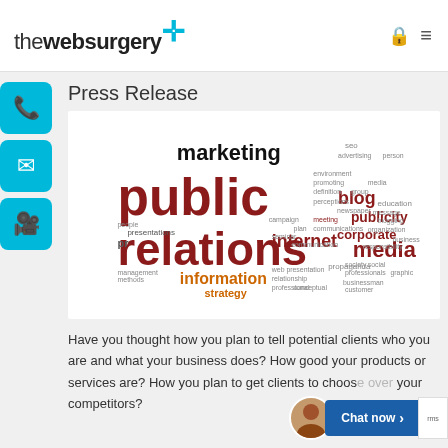[Figure (logo): thewebsurgery+ logo with cyan cross/plus symbol, lock icon and hamburger menu icon on right]
Press Release
[Figure (infographic): Word cloud / tag cloud featuring public relations terms. Largest words: 'public relations' in dark red, 'media' in dark red, 'marketing' in dark/black, 'internet' in dark red, 'corporate' in dark red, 'publicity' in dark red, 'information' in orange, 'blog' in dark red, 'strategy' in orange. Many smaller words in various colors.]
Have you thought how you plan to tell potential clients who you are and what your business does? How good your products or services are? How you plan to get clients to choose over your competitors?